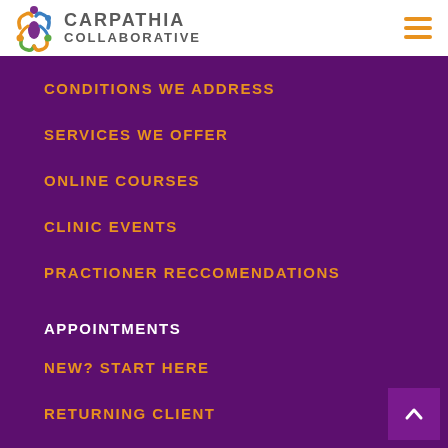[Figure (logo): Carpathia Collaborative logo with colorful circular icon and text]
CONDITIONS WE ADDRESS
SERVICES WE OFFER
ONLINE COURSES
CLINIC EVENTS
PRACTIONER RECCOMENDATIONS
APPOINTMENTS
NEW? START HERE
RETURNING CLIENT